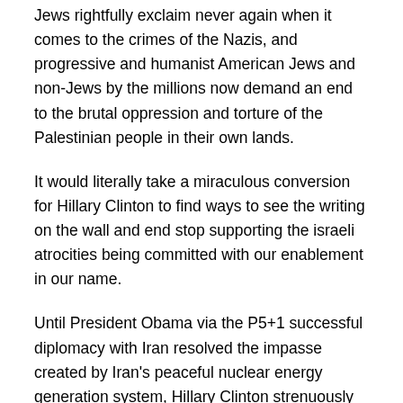Jews rightfully exclaim never again when it comes to the crimes of the Nazis, and progressive and humanist American Jews and non-Jews by the millions now demand an end to the brutal oppression and torture of the Palestinian people in their own lands.
It would literally take a miraculous conversion for Hillary Clinton to find ways to see the writing on the wall and end stop supporting the israeli atrocities being committed with our enablement in our name.
Until President Obama via the P5+1 successful diplomacy with Iran resolved the impasse created by Iran's peaceful nuclear energy generation system, Hillary Clinton strenuously opposed negotiations with Iran just as she opposed negotiations with Cuba which thanks to 18 months of secret negotiations of President Obama in cooperation with the humanist and progressive Pope